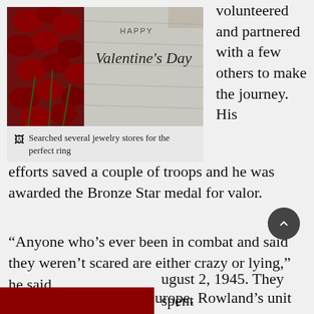[Figure (photo): Happy Valentine's Day image with red roses arranged in a heart shape on a light wooden background with cursive Valentine's Day text]
Searched several jewelry stores for the perfect ring
volunteered and partnered with a few others to make the journey. His efforts saved a couple of troops and he was awarded the Bronze Star medal for valor.
“Anyone who’s ever been in combat and said they weren’t scared are either crazy or lying,” he said.
After the surrender in Europe, Rowland’s unit redeployed back to the states and he received a 30-day furlough. He travelled home and
ugust 2, 1945. They spent